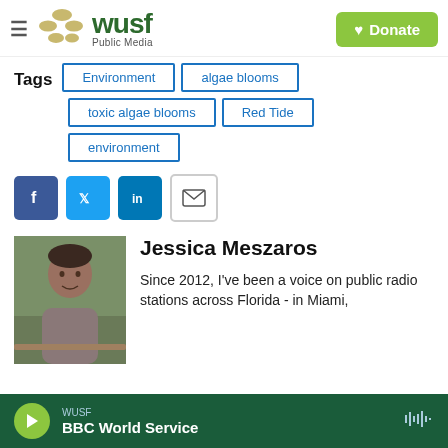WUSF Public Media - Donate
Environment
algae blooms
toxic algae blooms
Red Tide
environment
[Figure (infographic): Social media share buttons: Facebook (blue), Twitter (blue), LinkedIn (blue), Email (outlined)]
[Figure (photo): Headshot of Jessica Meszaros, a woman in a grey dress standing outdoors near greenery and a wooden railing]
Jessica Meszaros
Since 2012, I've been a voice on public radio stations across Florida - in Miami,
WUSF - BBC World Service